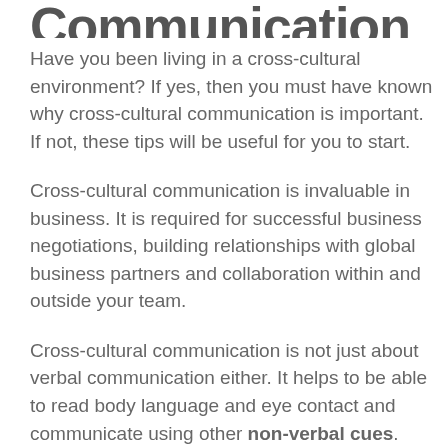Communication
Have you been living in a cross-cultural environment? If yes, then you must have known why cross-cultural communication is important. If not, these tips will be useful for you to start.
Cross-cultural communication is invaluable in business. It is required for successful business negotiations, building relationships with global business partners and collaboration within and outside your team.
Cross-cultural communication is not just about verbal communication either. It helps to be able to read body language and eye contact and communicate using other non-verbal cues. These nuances are unique to cultures and are very important to effective communication.